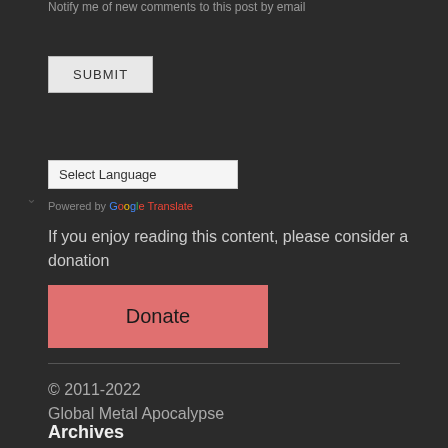Notify me of new comments to this post by email
SUBMIT
Select Language
Powered by Google Translate
If you enjoy reading this content, please consider a donation
Donate
© 2011-2022
Global Metal Apocalypse
Archives